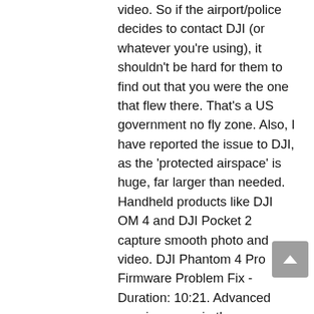video. So if the airport/police decides to contact DJI (or whatever you're using), it shouldn't be hard for them to find out that you were the one that flew there. That's a US government no fly zone. Also, I have reported the issue to DJI, as the 'protected airspace' is huge, far larger than needed. Handheld products like DJI OM 4 and DJI Pocket 2 capture smooth photo and video. DJI Phantom 4 Pro Firmware Problem Fix - Duration: 10:21. Advanced warning zone: in these zones, you will need to unlock the day of the flight on site and in the application the zone, this does not require an account or internet access I was under the impression that Litchi didnt have Geo restrictions and let you fly even if you are somewhere its not ok? DJI technology empowers us to see the future of possible. It is an informational feature which uses GPS and